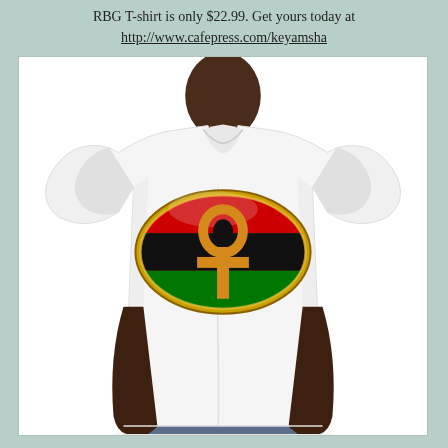RBG T-shirt is only $22.99. Get yours today at http://www.cafepress.com/keyamsha
[Figure (photo): Photo of a man wearing a white fitted t-shirt featuring an oval badge design with red, black, and green horizontal stripes (Pan-African colors) and a gold ankh symbol in the center, displayed on a white background.]